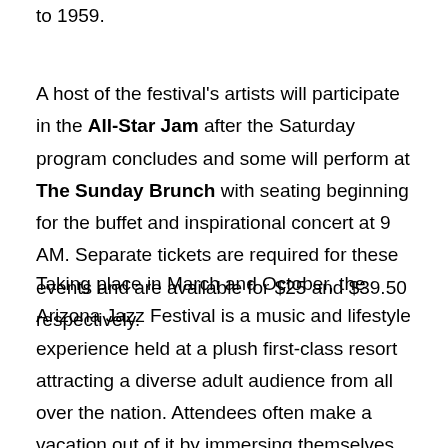to 1959.
A host of the festival's artists will participate in the All-Star Jam after the Saturday program concludes and some will perform at The Sunday Brunch with seating beginning for the buffet and inspirational concert at 9 AM. Separate tickets are required for these events and are available for $25 and $39.50 respectively.
Taking place in March and October, the Arizona Jazz Festival is a music and lifestyle experience held at a plush first-class resort attracting a diverse adult audience from all over the nation. Attendees often make a vacation out of it by immersing themselves in the music while taking advantage of the Arizona Grand Resort & Spa's extensive offerings such as the all-suite hotel's 18-hole golf course, water park, athletic club, full-service spa and salon, and six on-site restaurants. Ticket and hotel